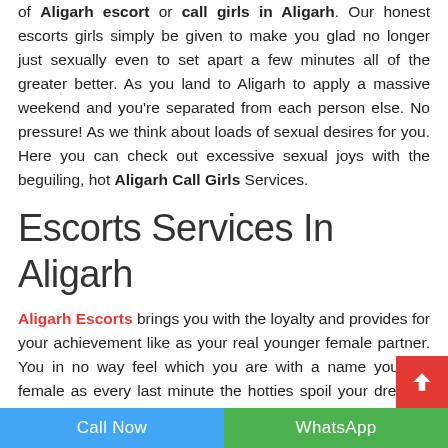of Aligarh escort or call girls in Aligarh. Our honest escorts girls simply be given to make you glad no longer just sexually even to set apart a few minutes all of the greater better. As you land to Aligarh to apply a massive weekend and you're separated from each person else. No pressure! As we think about loads of sexual desires for you. Here you can check out excessive sexual joys with the beguiling, hot Aligarh Call Girls Services.
Escorts Services In Aligarh
Aligarh Escorts brings you with the loyalty and provides for your achievement like as your real younger female partner. You in no way feel which you are with a name younger female as every last minute the hotties spoil your dreams. Which is really a authentic sparkle of supernatural near members of the family? At the time of pleasure these younger women offer all you
Call Now | WhatsApp